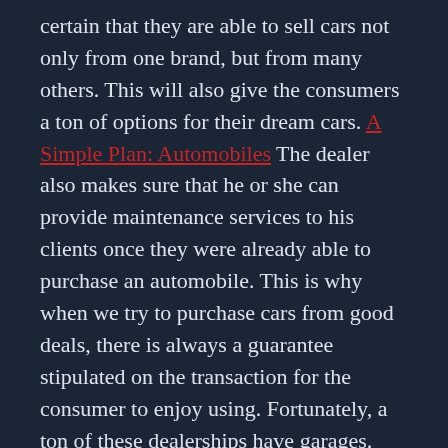certain that they are able to sell cars not only from one brand, but from many others. This will also give the consumers a ton of options for their dream cars. A Simple Plan: Automobiles The dealer also makes sure that he or she can provide maintenance services to his clients once they were already able to purchase an automobile. This is why when we try to purchase cars from good deals, there is always a guarantee stipulated on the transaction for the consumer to enjoy using. Fortunately, a ton of these dealerships have garages.
Leave a comment
HEALTH CARE & MEDICAL
The Best Advice on Videos I've found